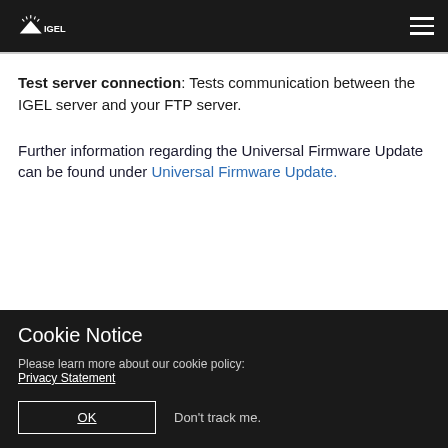IGEL
Test server connection: Tests communication between the IGEL server and your FTP server.
Further information regarding the Universal Firmware Update can be found under Universal Firmware Update.
Cookie Notice
Please learn more about our cookie policy: Privacy Statement
OK   Don't track me.